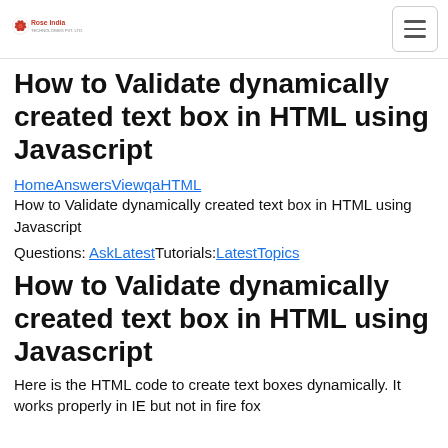Rose India [logo] | [hamburger menu]
How to Validate dynamically created text box in HTML using Javascript
HomeAnswersViewqaHTML
How to Validate dynamically created text box in HTML using Javascript
Questions: AskLatestTutorials:LatestTopics
How to Validate dynamically created text box in HTML using Javascript
Here is the HTML code to create text boxes dynamically. It works properly in IE but not in fire fox